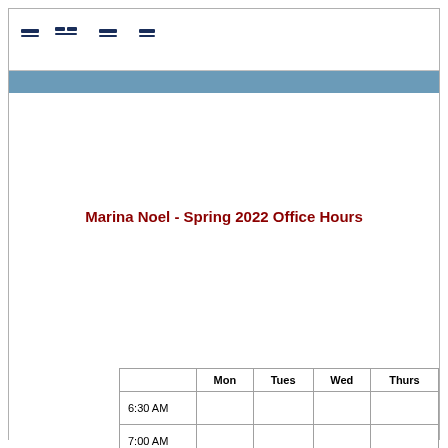Marina Noel - Spring 2022 Office Hours
|  | Mon | Tues | Wed | Thurs |
| --- | --- | --- | --- | --- |
| 6:30 AM |  |  |  |  |
| 7:00 AM |  |  |  |  |